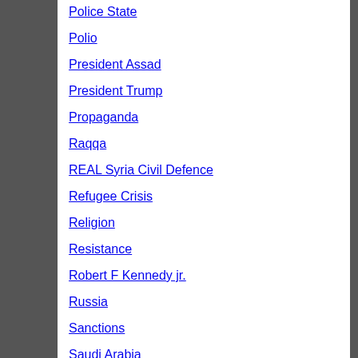Police State
Polio
President Assad
President Trump
Propaganda
Raqqa
REAL Syria Civil Defence
Refugee Crisis
Religion
Resistance
Robert F Kennedy jr.
Russia
Sanctions
Saudi Arabia
Sayyed Nasrallah
Shanghai